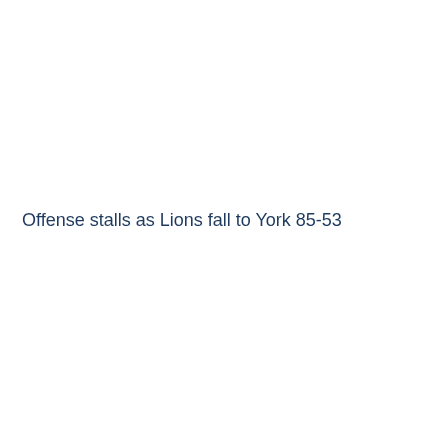Offense stalls as Lions fall to York 85-53